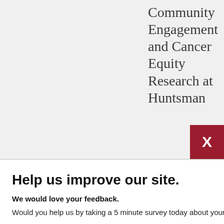Community Engagement and Cancer Equity Research at Huntsman
[Figure (screenshot): Red close button with white X in top right corner of modal]
Help us improve our site.
We would love your feedback.
Would you help us by taking a 5 minute survey today about your visit to our website?
No, Thanks
Yes, Take Survey